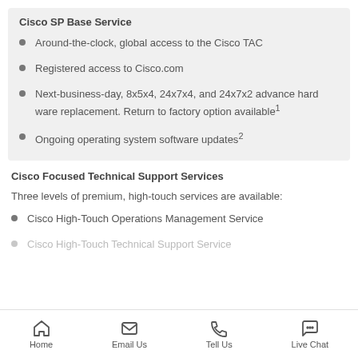Cisco SP Base Service
Around-the-clock, global access to the Cisco TAC
Registered access to Cisco.com
Next-business-day, 8x5x4, 24x7x4, and 24x7x2 advance hardware replacement. Return to factory option available¹
Ongoing operating system software updates²
Cisco Focused Technical Support Services
Three levels of premium, high-touch services are available:
Cisco High-Touch Operations Management Service
Home   Email Us   Tell Us   Live Chat